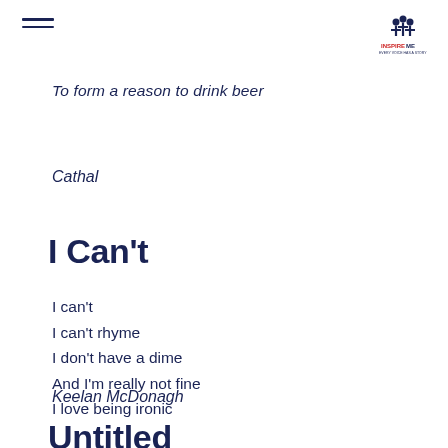To form a reason to drink beer
Cathal
I Can't
I can't
I can't rhyme
I don't have a dime
And I'm really not fine
I love being ironic
Keelan McDonagh
Untitled